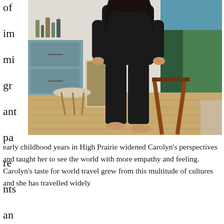of immigrant parents and her
[Figure (photo): A woman with curly dark hair wearing a black top and black capri pants stands barefoot in an art studio. Behind her are canvases leaning against walls, an easel with a nature painting, a wooden stool, and art supplies on shelves.]
early childhood years in High Prairie widened Carolyn's perspectives and taught her to see the world with more empathy and feeling. Carolyn's taste for world travel grew from this multitude of cultures and she has travelled widely